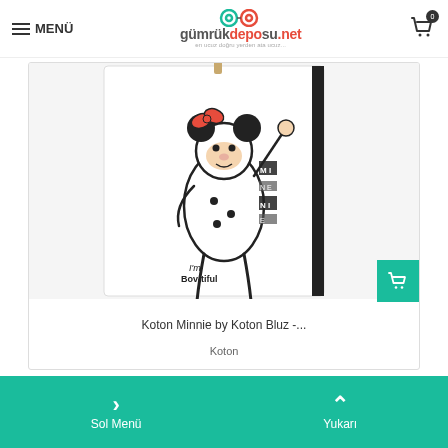MENÜ | gümrükdeposu.net
[Figure (photo): Product photo of a white blouse with Minnie Mouse graphic print hanging on a hanger, with a black trim visible on the right side. The blouse has text reading 'I'm Bov-tiful' and 'MINNIE' in black print.]
Koton Minnie by Koton Bluz -...
Koton
Sol Menü | Yukarı